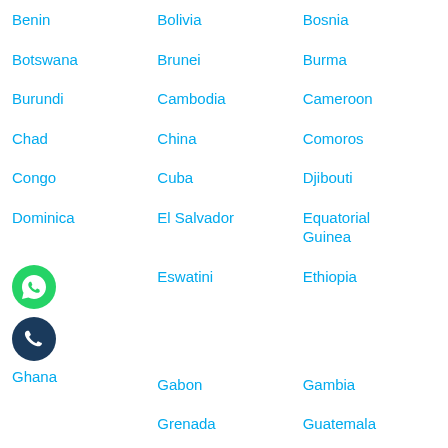Benin
Bolivia
Bosnia
Botswana
Brunei
Burma
Burundi
Cambodia
Cameroon
Chad
China
Comoros
Congo
Cuba
Djibouti
Dominica
El Salvador
Equatorial Guinea
[Figure (illustration): WhatsApp green circle icon with white phone handset]
Eswatini
Ethiopia
[Figure (illustration): Dark blue circle icon with white phone handset]
Gabon
Gambia
Ghana
Grenada
Guatemala